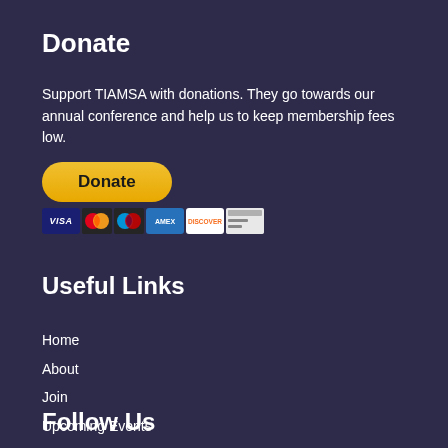Donate
Support TIAMSA with donations. They go towards our annual conference and help us to keep membership fees low.
[Figure (other): PayPal Donate button with payment card icons (Visa, Mastercard, Maestro, American Express, Discover, and another card)]
Useful Links
Home
About
Join
Upcoming Events
Frequently Asked Questions
Contact
Follow Us